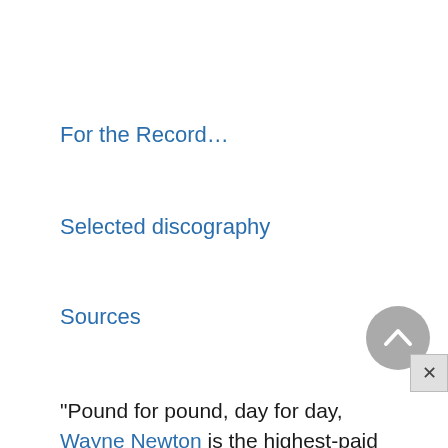For the Record…
Selected discography
Sources
“Pound for pound, day for day, Wayne Newton is the highest-paid cabaret entertainer ever,” writes Robert Windeler in People magazine. Newton has graced the stages of Las Vegas resort casinos for more than twenty